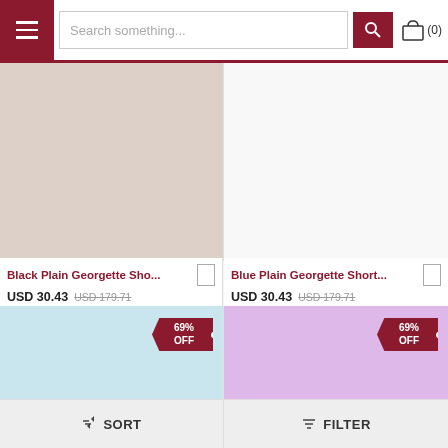Search something... (0)
[Figure (photo): Product image placeholder - rose/beige colored background for Black Plain Georgette Sho...]
Black Plain Georgette Sho...
USD 30.43  USD 179.71
[Figure (photo): Product image placeholder - white/light background for Blue Plain Georgette Short...]
Blue Plain Georgette Short...
USD 30.43  USD 179.71
[Figure (photo): Product image placeholder - light blue background with 69% OFF tag]
[Figure (photo): Product image placeholder - lavender/pink background with 69% OFF tag]
SORT   FILTER